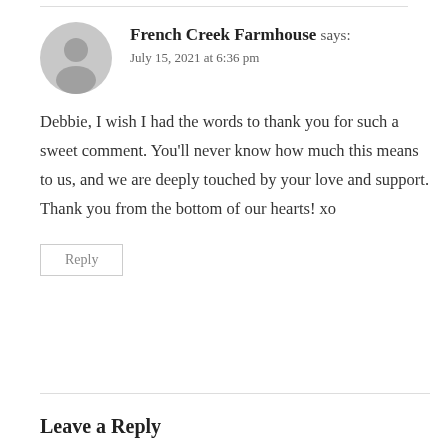French Creek Farmhouse says: July 15, 2021 at 6:36 pm
Debbie, I wish I had the words to thank you for such a sweet comment. You'll never know how much this means to us, and we are deeply touched by your love and support. Thank you from the bottom of our hearts! xo
Reply